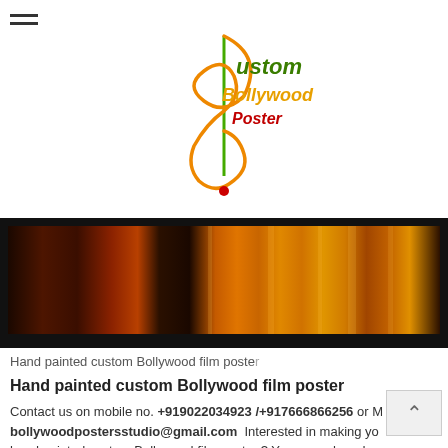[Figure (logo): Custom Bollywood Poster logo with musical note and colorful text]
[Figure (photo): Hand painted custom Bollywood film poster strip showing dark warm-toned painting]
Hand painted custom Bollywood film poster
Hand painted custom Bollywood film poster
Contact us on mobile no. +919022034923 /+917666866256 or Mail us on bollywoodpostersstudio@gmail.com  Interested in making your hand painted custom Bollywood film poster ? Your search ends here. Your's one and only Bollywood posters studio.
Bollywood posters studio has a huge variety of customized Bo... your favourite movie stills and be a part of it by simply sending...